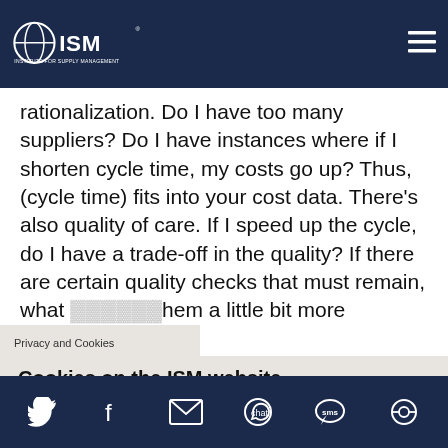ISM – Institute for Supply Management
rationalization. Do I have too many suppliers? Do I have instances where if I shorten cycle time, my costs go up? Thus, (cycle time) fits into your cost data. There's also quality of care. If I speed up the cycle, do I have a trade-off in the quality? If there are certain quality checks that must remain, what … them a little bit more
Privacy and Cookies
Cookies on the ISM website
We use cookies to give you the best digital experience while visiting our website. By accepting the use of cookies and using our website you consent to all cookies in accordance with our Privacy Policy.
Privacy Policy   Contact Us
Social media icons: Twitter, Facebook, Email, WhatsApp, SMS, Other